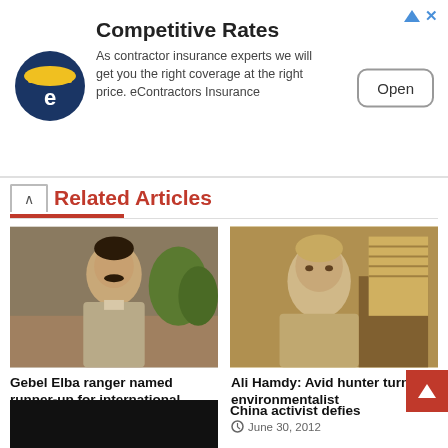[Figure (other): Advertisement banner: logo of eContractors Insurance (blue circle with yellow hard hat), title 'Competitive Rates', body text 'As contractor insurance experts we will get you the right coverage at the right price. eContractors Insurance', with an 'Open' button on the right and ad corner icons top-right.]
Related Articles
[Figure (photo): Photo of a man (Gebel Elba ranger) outdoors in beige clothing, looking at camera, arid landscape background.]
Gebel Elba ranger named runner-up for international conservation award
July 23, 2012
[Figure (photo): Photo of an older man (Ali Hamdy) seated outdoors, wearing casual clothes, looking at camera.]
Ali Hamdy: Avid hunter turned environmentalist
June 30, 2012
[Figure (photo): Partially visible dark photo at bottom left.]
China activist defies